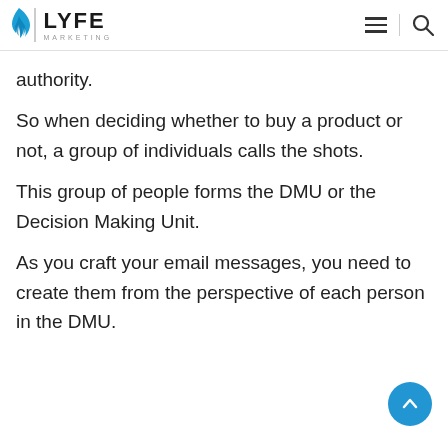LYFE MARKETING
authority.
So when deciding whether to buy a product or not, a group of individuals calls the shots.
This group of people forms the DMU or the Decision Making Unit.
As you craft your email messages, you need to create them from the perspective of each person in the DMU.